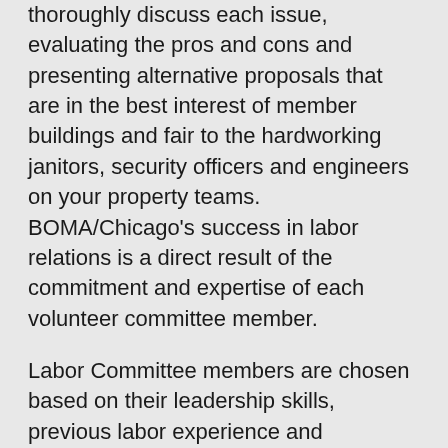thoroughly discuss each issue, evaluating the pros and cons and presenting alternative proposals that are in the best interest of member buildings and fair to the hardworking janitors, security officers and engineers on your property teams. BOMA/Chicago's success in labor relations is a direct result of the commitment and expertise of each volunteer committee member.
Labor Committee members are chosen based on their leadership skills, previous labor experience and willingness to dedicate the time necessary to fulfill such an important obligation. Although the exact number varies by year, there are usually about 15 members representing a diverse cross-section of BOMA/Chicago's membership. And although the job is hard work, members tend to commit for the long haul, with many Labor Committee members having tenure of more than 20 years. My time on the Labor Committee has been a privilege and one of the most fulfilling parts of my BOMA/Chicago membership.
BOMA/Chicago's Labor Committee conducts negotiations